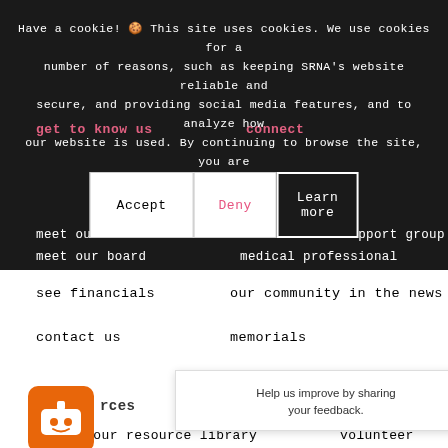Have a cookie! 🍪 This site uses cookies. We use cookies for a number of reasons, such as keeping SRNA's website reliable and secure, and providing social media features, and to analyze how our website is used. By continuing to browse the site, you are agreeing to our use of cookies.
get to know us
connect
[Figure (screenshot): Cookie consent dialog with Accept, Deny, and Learn more buttons]
meet our staff
find a local support group
meet our [board/team]
medical professional
see financials
our community in the news
contact us
memorials
[Figure (screenshot): Feedback popup with close button and text: Help us improve by sharing your feedback.]
rces
lved
access our resource library
volunteer